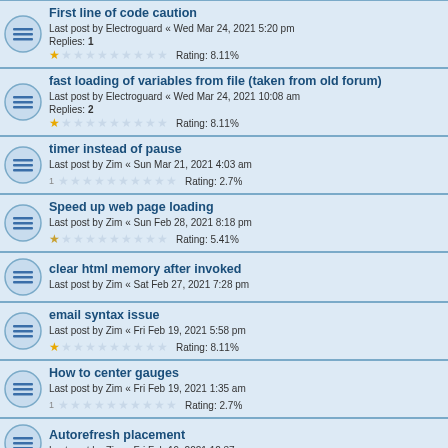First line of code caution
Last post by Electroguard « Wed Mar 24, 2021 5:20 pm
Replies: 1
Rating: 8.11%
fast loading of variables from file (taken from old forum)
Last post by Electroguard « Wed Mar 24, 2021 10:08 am
Replies: 2
Rating: 8.11%
timer instead of pause
Last post by Zim « Sun Mar 21, 2021 4:03 am
Rating: 2.7%
Speed up web page loading
Last post by Zim « Sun Feb 28, 2021 8:18 pm
Rating: 5.41%
clear html memory after invoked
Last post by Zim « Sat Feb 27, 2021 7:28 pm
email syntax issue
Last post by Zim « Fri Feb 19, 2021 5:58 pm
Rating: 8.11%
How to center gauges
Last post by Zim « Fri Feb 19, 2021 1:35 am
Rating: 2.7%
Autorefresh placement
Last post by Zim « Fri Feb 19, 2021 12:37 am